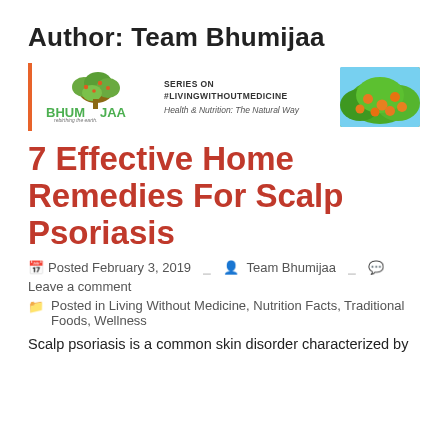Author: Team Bhumijaa
[Figure (logo): Bhumijaa brand banner with tree logo, 'SERIES ON #LIVINGWITHOUTMEDICINE - Health & Nutrition: The Natural Way' text, and a photo of orange fruits on a tree]
7 Effective Home Remedies For Scalp Psoriasis
Posted February 3, 2019   Team Bhumijaa   Leave a comment
Posted in Living Without Medicine, Nutrition Facts, Traditional Foods, Wellness
Scalp psoriasis is a common skin disorder characterized by